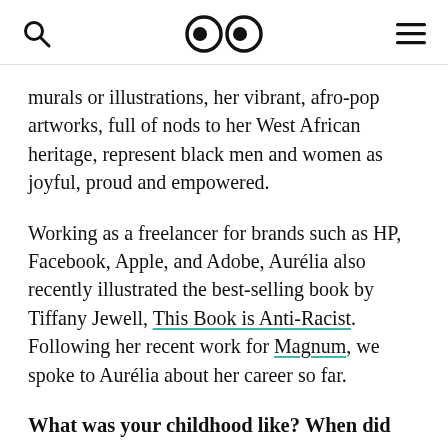[search icon] [logo: two eyes] [hamburger menu]
murals or illustrations, her vibrant, afro-pop artworks, full of nods to her West African heritage, represent black men and women as joyful, proud and empowered.
Working as a freelancer for brands such as HP, Facebook, Apple, and Adobe, Aurélia also recently illustrated the best-selling book by Tiffany Jewell, This Book is Anti-Racist. Following her recent work for Magnum, we spoke to Aurélia about her career so far.
What was your childhood like? When did you